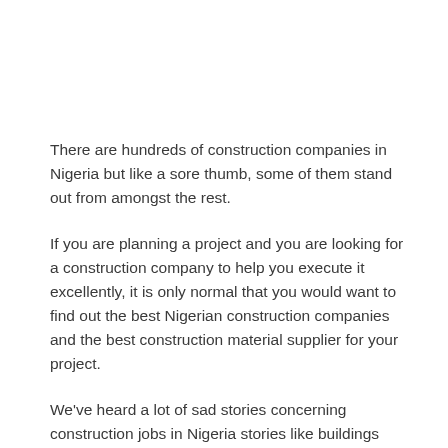There are hundreds of construction companies in Nigeria but like a sore thumb, some of them stand out from amongst the rest.
If you are planning a project and you are looking for a construction company to help you execute it excellently, it is only normal that you would want to find out the best Nigerian construction companies and the best construction material supplier for your project.
We've heard a lot of sad stories concerning construction jobs in Nigeria stories like buildings collapsing after the project owners might have spent millions on building it, contractors taking money